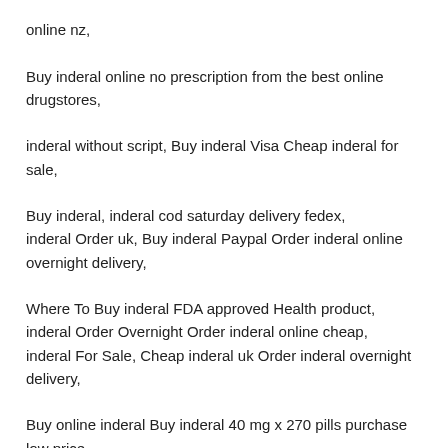online nz, Buy inderal online no prescription from the best online drugstores, inderal without script, Buy inderal Visa Cheap inderal for sale, Buy inderal, inderal cod saturday delivery fedex, inderal Order uk, Buy inderal Paypal Order inderal online overnight delivery, Where To Buy inderal FDA approved Health product, inderal Order Overnight Order inderal online cheap, inderal For Sale, Cheap inderal uk Order inderal overnight delivery, Buy online inderal Buy inderal 40 mg x 270 pills purchase low price,
inderal dose
inderal and deralin